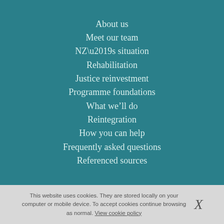About us
Meet our team
NZ’s situation
Rehabilitation
Justice reinvestment
Programme foundations
What we’ll do
Reintegration
How you can help
Frequently asked questions
Referenced sources
This website uses cookies. They are stored locally on your computer or mobile device. To accept cookies continue browsing as normal. View cookie policy